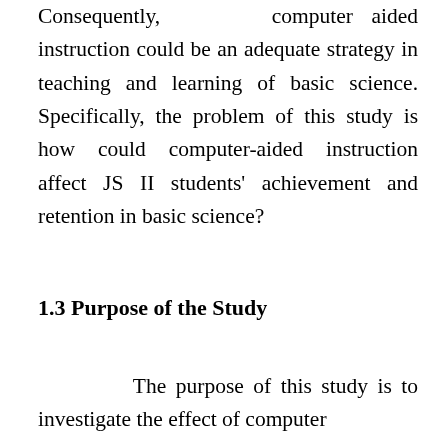Consequently, computer aided instruction could be an adequate strategy in teaching and learning of basic science. Specifically, the problem of this study is how could computer-aided instruction affect JS II students' achievement and retention in basic science?
1.3 Purpose of the Study
The purpose of this study is to investigate the effect of computer